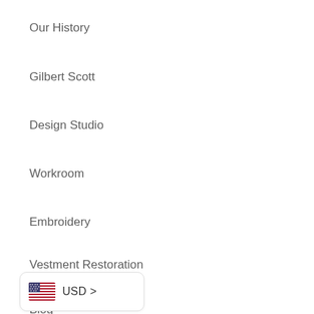Our History
Gilbert Scott
Design Studio
Workroom
Embroidery
Vestment Restoration
Blog
Watts 1874
Watts London
[Figure (infographic): USD currency selector widget with American flag icon and chevron arrow]